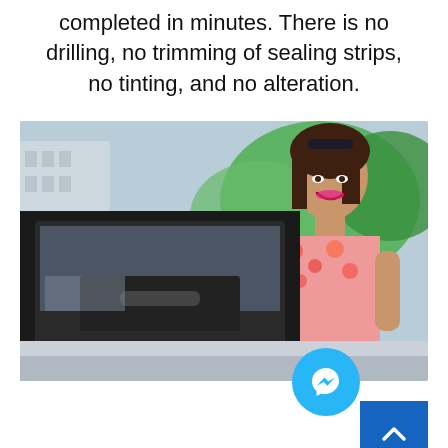completed in minutes. There is no drilling, no trimming of sealing strips, no tinting, and no alteration.
[Figure (photo): A smiling young woman with sunglasses on her head, wearing a floral dress, reaching into or looking at an open car door window. Green trees and a building are visible in the background. A blue Facebook Messenger button and a blue scroll-to-top button are overlaid in the bottom-right corner.]